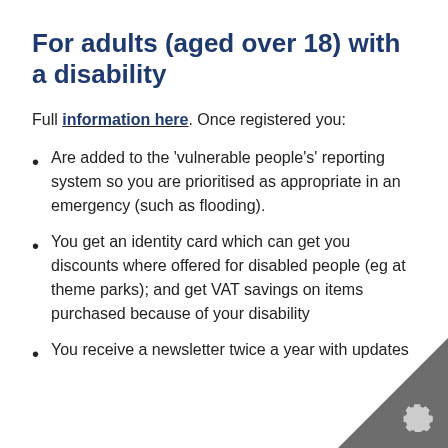For adults (aged over 18) with a disability
Full information here. Once registered you:
Are added to the 'vulnerable people's' reporting system so you are prioritised as appropriate in an emergency (such as flooding).
You get an identity card which can get you discounts where offered for disabled people (eg at theme parks); and get VAT savings on items purchased because of your disability
You receive a newsletter twice a year with updates